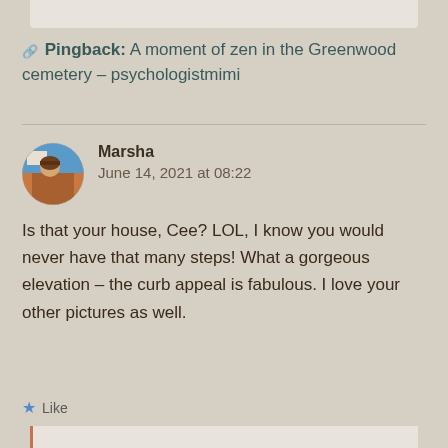Pingback: A moment of zen in the Greenwood cemetery – psychologistmimi
Marsha
June 14, 2021 at 08:22
Is that your house, Cee? LOL, I know you would never have that many steps! What a gorgeous elevation – the curb appeal is fabulous. I love your other pictures as well.
Like